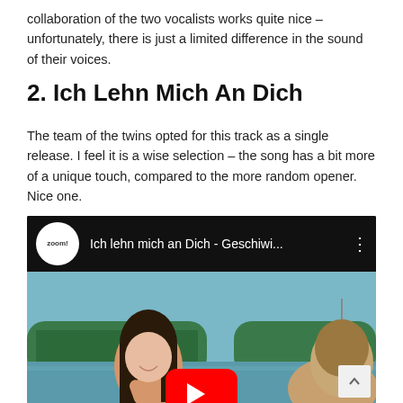collaboration of the two vocalists works quite nice – unfortunately, there is just a limited difference in the sound of their voices.
2. Ich Lehn Mich An Dich
The team of the twins opted for this track as a single release. I feel it is a wise selection – the song has a bit more of a unique touch, compared to the more random opener. Nice one.
[Figure (screenshot): Embedded YouTube video player showing 'Ich lehn mich an Dich - Geschwisters...' with a channel logo (zoom!), video title bar, and thumbnail showing two young women outdoors near water with trees, with a YouTube play button overlay.]